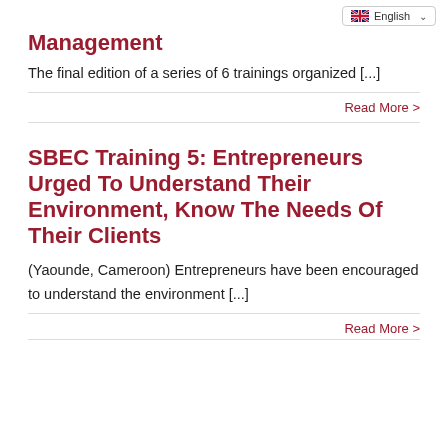English
Management
The final edition of a series of 6 trainings organized [...]
Read More >
SBEC Training 5: Entrepreneurs Urged To Understand Their Environment, Know The Needs Of Their Clients
(Yaounde, Cameroon) Entrepreneurs have been encouraged to understand the environment [...]
Read More >